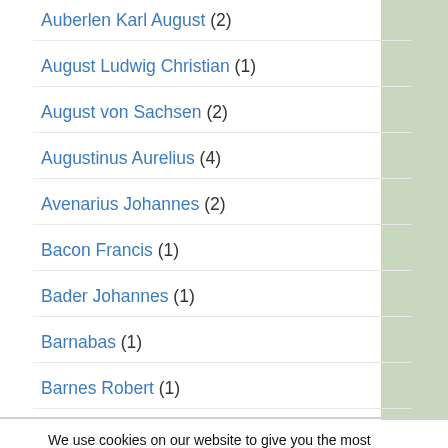Auberlen Karl August (2)
August Ludwig Christian (1)
August von Sachsen (2)
Augustinus Aurelius (4)
Avenarius Johannes (2)
Bacon Francis (1)
Bader Johannes (1)
Barnabas (1)
Barnes Robert (1)
We use cookies on our website to give you the most relevant experience by remembering your preferences and repeat visits. By clicking “Accept All”, you consent to the use of ALL the cookies. However, you may visit "Cookie Settings" to provide a controlled consent.